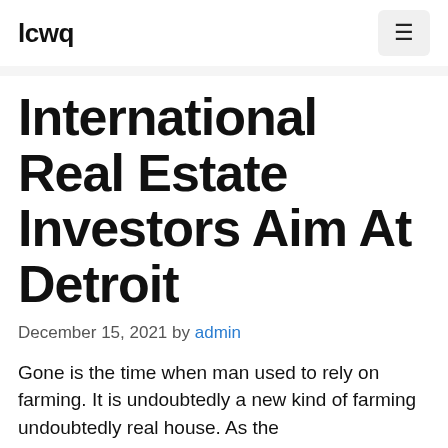lcwq
International Real Estate Investors Aim At Detroit
December 15, 2021 by admin
Gone is the time when man used to rely on farming. It is undoubtedly a new kind of farming undoubtedly real house. As the